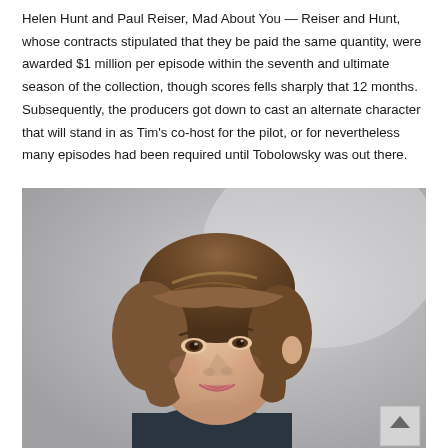Helen Hunt and Paul Reiser, Mad About You — Reiser and Hunt, whose contracts stipulated that they be paid the same quantity, were awarded $1 million per episode within the seventh and ultimate season of the collection, though scores fells sharply that 12 months. Subsequently, the producers got down to cast an alternate character that will stand in as Tim's co-host for the pilot, or for nevertheless many episodes had been required until Tobolowsky was out there.
[Figure (photo): A woman with a short brown bob haircut, looking over her shoulder with a slight smile, photographed against a neutral grey background. She is wearing a dark turtleneck.]